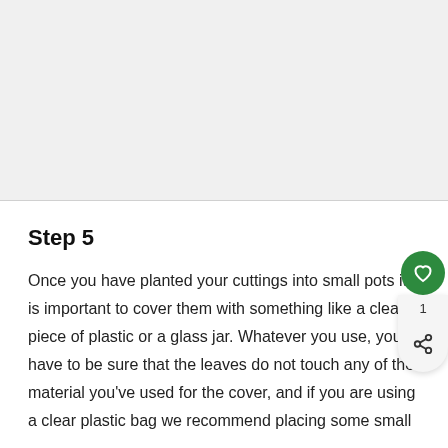[Figure (photo): Large image area at top of page, appears to be a photo related to plant cuttings (content not visible in this crop)]
Step 5
Once you have planted your cuttings into small pots it is important to cover them with something like a clear piece of plastic or a glass jar. Whatever you use, you have to be sure that the leaves do not touch any of the material you've used for the cover, and if you are using a clear plastic bag we recommend placing some small